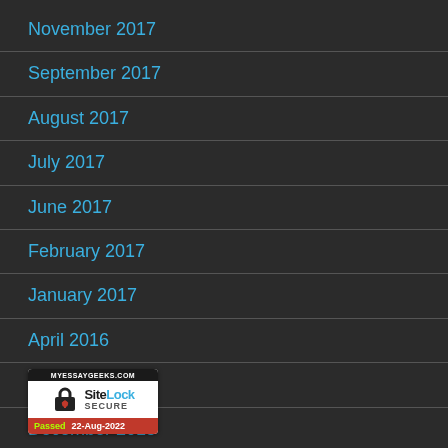November 2017
September 2017
August 2017
July 2017
June 2017
February 2017
January 2017
April 2016
March 2016
December 2015
[Figure (logo): SiteLock Secure badge from MYESSAYGEEKS.COM, Passed 22-Aug-2022]